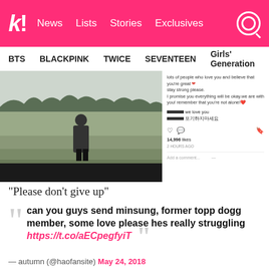k! News Lists Stories Exclusives
BTS BLACKPINK TWICE SEVENTEEN Girls' Generation
[Figure (screenshot): Black and white photo of a person standing in a field with forests in background, alongside an Instagram comment screenshot with messages of support, 14,996 likes, showing Korean text and English messages like 'we love you' and '포기하지마세요']
“Please don’t give up”
can you guys send minsung, former topp dogg member, some love please hes really struggling https://t.co/aECpegfyiT
— autumn (@haofansite) May 24, 2018